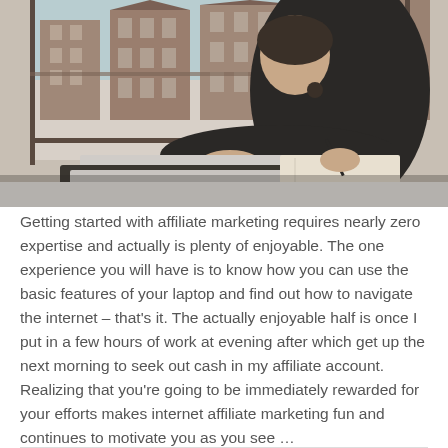[Figure (photo): A person sitting at a desk near a window, working on a laptop and writing in a notebook. Buildings visible through the window in the background.]
Getting started with affiliate marketing requires nearly zero expertise and actually is plenty of enjoyable. The one experience you will have is to know how you can use the basic features of your laptop and find out how to navigate the internet – that's it. The actually enjoyable half is once I put in a few hours of work at evening after which get up the next morning to seek out cash in my affiliate account. Realizing that you're going to be immediately rewarded for your efforts makes internet affiliate marketing fun and continues to motivate you as you see …